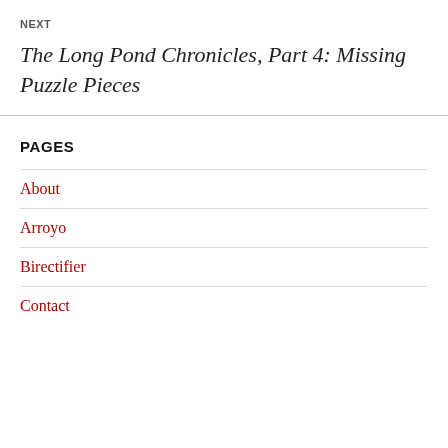NEXT
The Long Pond Chronicles, Part 4: Missing Puzzle Pieces
PAGES
About
Arroyo
Birectifier
Contact